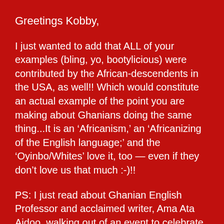Greetings Kobby,
I just wanted to add that ALL of your examples (bling, yo, bootylicious) were contributed by the African-descendents in the USA, as well!! Which would constitute an actual example of the point you are making about Ghanians doing the same thing...It is an ‘Africanism,’ an ‘Africanizing of the English language;’ and the ‘Oyinbo/Whites’ love it, too — even if they don’t love us that much :-)!!
PS: I just read about Ghanian English Professor and acclaimed writer, Ama Ata Aidoo, walking out of an event to celebrate her influence on Ghanian women because the event’s program spelled her middle name with two T(s) (Atta) instead of one! How would you